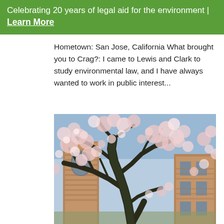Celebrating 20 years of legal aid for the environment | Learn More
Hometown:  San Jose, California What brought you to Crag?:  I came to Lewis and Clark to study environmental law, and I have always wanted to work in public interest...
[Figure (photo): A cherry blossom tree with pink flowers in full bloom, with a brick building visible in the background. The gnarled dark trunk and branches spread across the frame with soft pink blossoms and blue sky.]